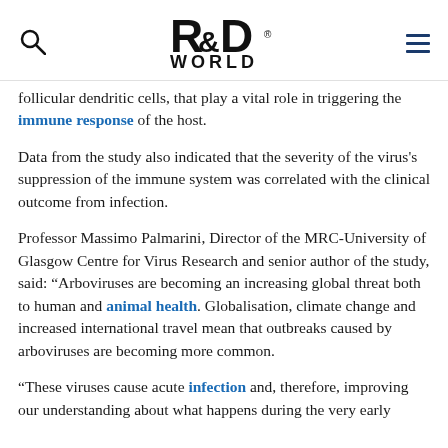R&D World
follicular dendritic cells, that play a vital role in triggering the immune response of the host.
Data from the study also indicated that the severity of the virus's suppression of the immune system was correlated with the clinical outcome from infection.
Professor Massimo Palmarini, Director of the MRC-University of Glasgow Centre for Virus Research and senior author of the study, said: “Arboviruses are becoming an increasing global threat both to human and animal health. Globalisation, climate change and increased international travel mean that outbreaks caused by arboviruses are becoming more common.
“These viruses cause acute infection and, therefore, improving our understanding about what happens during the very early